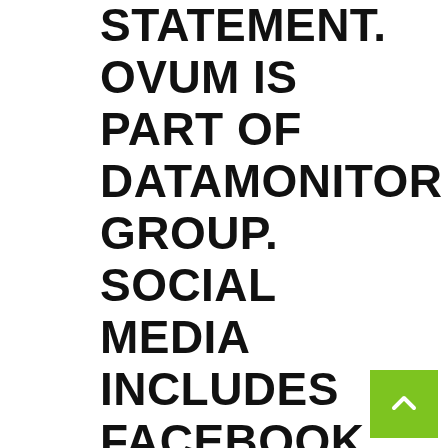STATEMENT. OVUM IS PART OF DATAMONITOR GROUP. SOCIAL MEDIA INCLUDES FACEBOOK, TWITTER AND LINKEDIN AMONG OTHER NETWORKING WEBSITES. CURRENTLY JUST SIX PER CENT OF RETAIL BANKS USE SOCIAL MEDIA TO DEAL WITH CUSTOMER QUERIES AND ONLY A FURTHER 1 PER CENT ENVISAGE USING IT IN THIS WAY BETWEEN 2011 AND THE END OF 2012, THE